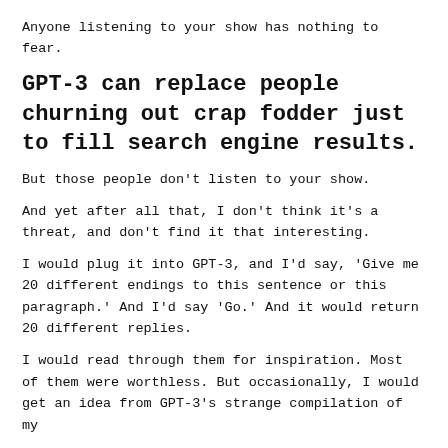Anyone listening to your show has nothing to fear.
GPT-3 can replace people churning out crap fodder just to fill search engine results.
But those people don't listen to your show.
And yet after all that, I don't think it's a threat, and don't find it that interesting.
I would plug it into GPT-3, and I'd say, 'Give me 20 different endings to this sentence or this paragraph.' And I'd say 'Go.' And it would return 20 different replies.
I would read through them for inspiration. Most of them were worthless. But occasionally, I would get an idea from GPT-3's strange compilation of my...